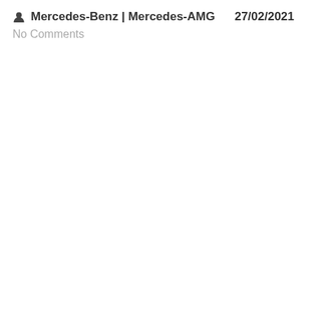Mercedes-Benz | Mercedes-AMG   27/02/2021
No Comments